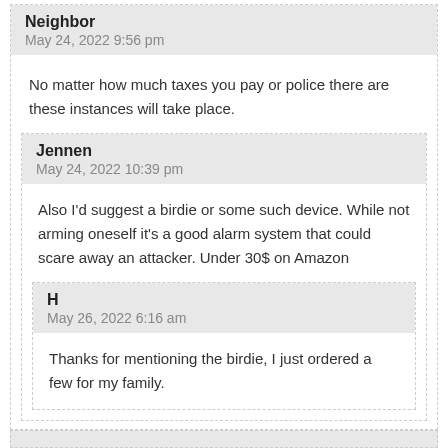Neighbor
May 24, 2022 9:56 pm
No matter how much taxes you pay or police there are these instances will take place.
Jennen
May 24, 2022 10:39 pm
Also I'd suggest a birdie or some such device. While not arming oneself it's a good alarm system that could scare away an attacker. Under 30$ on Amazon
H
May 26, 2022 6:16 am
Thanks for mentioning the birdie, I just ordered a few for my family.